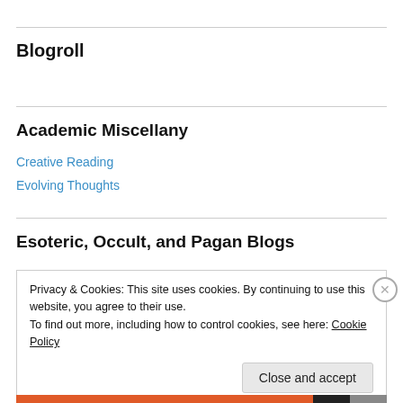Blogroll
Academic Miscellany
Creative Reading
Evolving Thoughts
Esoteric, Occult, and Pagan Blogs
Privacy & Cookies: This site uses cookies. By continuing to use this website, you agree to their use.
To find out more, including how to control cookies, see here: Cookie Policy
Close and accept